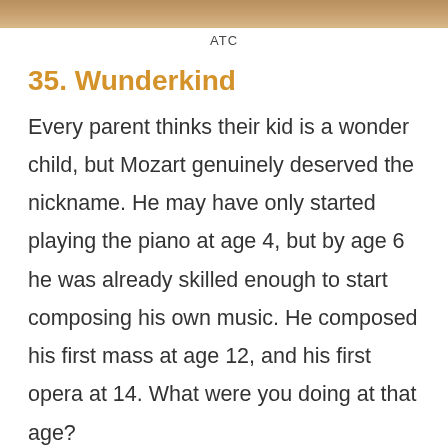[Figure (photo): Partial top image strip showing a warm brownish background, likely a historical scene or texture]
ATC
35. Wunderkind
Every parent thinks their kid is a wonder child, but Mozart genuinely deserved the nickname. He may have only started playing the piano at age 4, but by age 6 he was already skilled enough to start composing his own music. He composed his first mass at age 12, and his first opera at 14. What were you doing at that age?